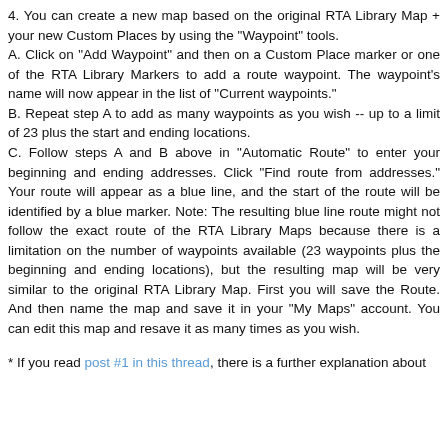4. You can create a new map based on the original RTA Library Map + your new Custom Places by using the "Waypoint" tools. A. Click on "Add Waypoint" and then on a Custom Place marker or one of the RTA Library Markers to add a route waypoint. The waypoint's name will now appear in the list of "Current waypoints." B. Repeat step A to add as many waypoints as you wish -- up to a limit of 23 plus the start and ending locations. C. Follow steps A and B above in "Automatic Route" to enter your beginning and ending addresses. Click "Find route from addresses." Your route will appear as a blue line, and the start of the route will be identified by a blue marker. Note: The resulting blue line route might not follow the exact route of the RTA Library Maps because there is a limitation on the number of waypoints available (23 waypoints plus the beginning and ending locations), but the resulting map will be very similar to the original RTA Library Map. First you will save the Route. And then name the map and save it in your "My Maps" account. You can edit this map and resave it as many times as you wish.
* If you read post #1 in this thread, there is a further explanation about